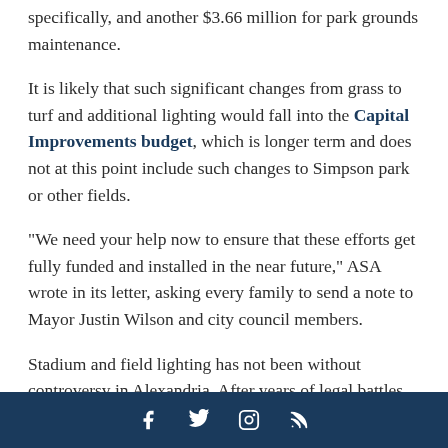specifically, and another $3.66 million for park grounds maintenance.
It is likely that such significant changes from grass to turf and additional lighting would fall into the Capital Improvements budget, which is longer term and does not at this point include such changes to Simpson park or other fields.
"We need your help now to ensure that these efforts get fully funded and installed in the near future," ASA wrote in its letter, asking every family to send a note to Mayor Justin Wilson and city council members.
Stadium and field lighting has not been without controversy in Alexandria. After years of legal battles regarding light pollution and nighttime game noise, city officials and residents came to an agreement in 2020 regarding installing stadium lights at Alexandria
Social media icons: Facebook, Twitter, Instagram, RSS